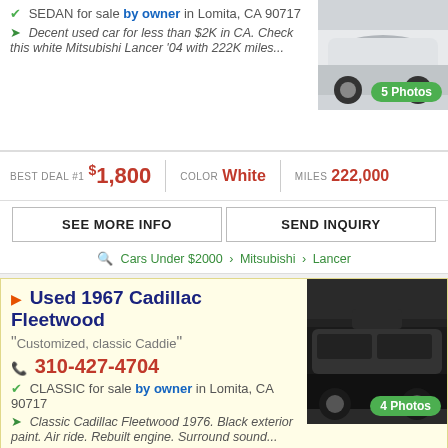SEDAN for sale by owner in Lomita, CA 90717
Decent used car for less than $2K in CA. Check this white Mitsubishi Lancer '04 with 222K miles...
[Figure (photo): White car photo with 5 Photos badge]
BEST DEAL #1 $1,800 | COLOR White | MILES 222,000
SEE MORE INFO | SEND INQUIRY
Cars Under $2000 > Mitsubishi > Lancer
Used 1967 Cadillac Fleetwood
Customized, classic Caddie
310-427-4704
CLASSIC for sale by owner in Lomita, CA 90717
Classic Cadillac Fleetwood 1976. Black exterior paint. Air ride. Rebuilt engine. Surround sound...
[Figure (photo): Black classic Cadillac Fleetwood photo with 4 Photos badge]
BEST DEAL #2 $18,000 | COLOR Black | MILES 110,000
SEE MORE INFO | SEND INQUIRY
Classics > Cadillac > Fleetwood